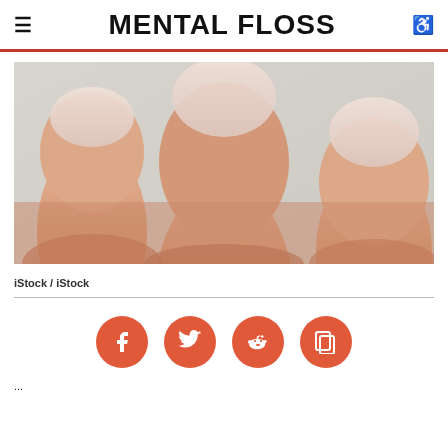MENTAL FLOSS
[Figure (photo): Close-up photograph of three human fingertips showing fingernails against a light grey background]
iStock / iStock
[Figure (infographic): Social sharing icons row: Facebook, Twitter, Reddit, Google+]
...